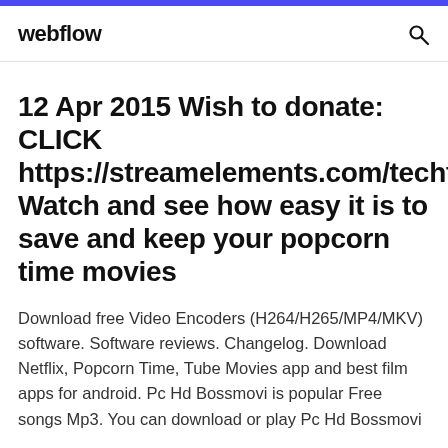webflow
12 Apr 2015 Wish to donate: CLICK https://streamelements.com/techtiptr Watch and see how easy it is to save and keep your popcorn time movies
Download free Video Encoders (H264/H265/MP4/MKV) software. Software reviews. Changelog. Download Netflix, Popcorn Time, Tube Movies app and best film apps for android. Pc Hd Bossmovi is popular Free songs Mp3. You can download or play Pc Hd Bossmovi